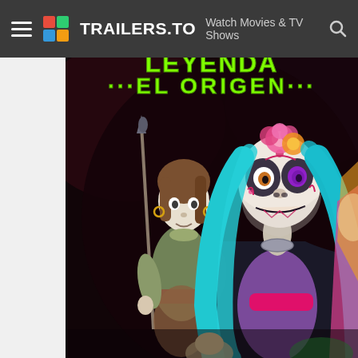TRAILERS.TO — Watch Movies & TV Shows
[Figure (screenshot): Animated movie poster for 'Las Leyendas: El Origen' showing stylized cartoon characters including a female character with teal hair, sugar skull face paint, and a black cape, and a male character holding a spear. Dark, colorful background with green text reading '...EL ORIGEN...' at the top.]